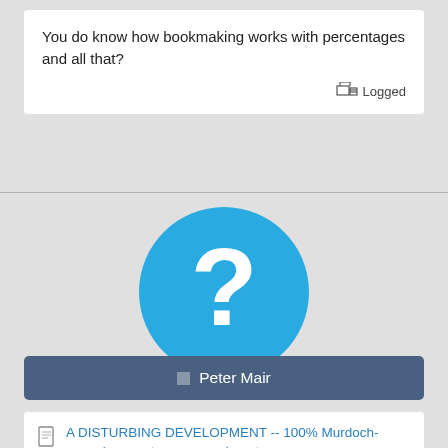You do know how bookmaking works with percentages and all that?
Logged
[Figure (illustration): Blue circle with white question mark, representing a default user avatar]
Peter Mair
A DISTURBING DEVELOPMENT -- 100% Murdoch-owned racenet.com.au and punters.com.au
« Reply #16 on: 2021-May-07, 09:12 PM »